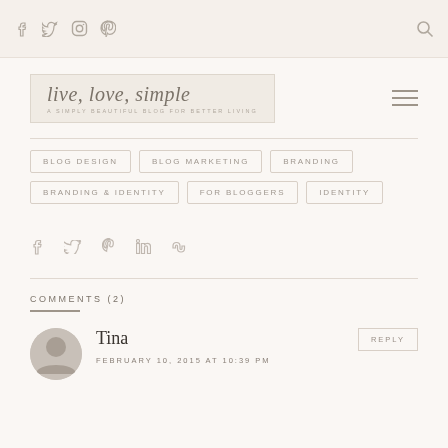live, love, simple — social icons nav bar with search
[Figure (logo): live, love, simple blog logo with script text and tagline]
BLOG DESIGN
BLOG MARKETING
BRANDING
BRANDING & IDENTITY
FOR BLOGGERS
IDENTITY
COMMENTS (2)
Tina
FEBRUARY 10, 2015 AT 10:39 PM